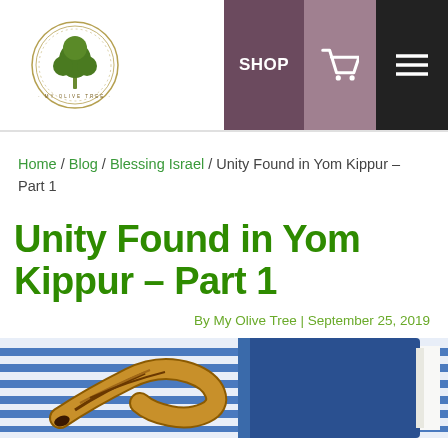[Figure (logo): My Olive Tree circular logo with tree illustration]
SHOP [cart icon] [menu icon]
Home / Blog / Blessing Israel / Unity Found in Yom Kippur – Part 1
Unity Found in Yom Kippur – Part 1
By My Olive Tree | September 25, 2019
[Figure (photo): A shofar (ram's horn) resting beside a blue hardcover book on a blue and white striped tallit (prayer shawl)]